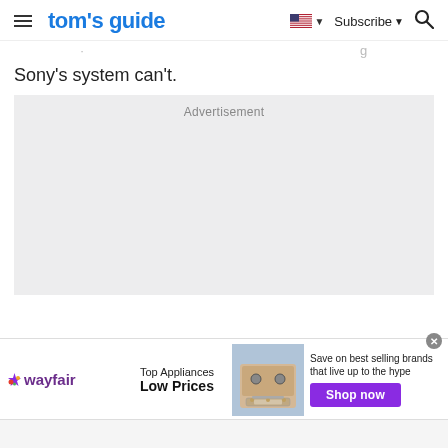tom's guide | Subscribe
Sony's system can't.
[Figure (other): Advertisement placeholder block (gray rectangle with 'Advertisement' label)]
[Figure (other): Wayfair advertisement banner: Top Appliances Low Prices, Save on best selling brands that live up to the hype, Shop now button, stove/range appliance image]